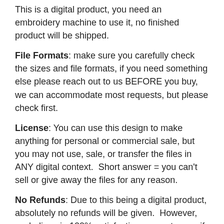This is a digital product, you need an embroidery machine to use it, no finished product will be shipped.
File Formats: make sure you carefully check the sizes and file formats, if you need something else please reach out to us BEFORE you buy, we can accommodate most requests, but please check first.
License: You can use this design to make anything for personal or commercial sale, but you may not use, sale, or transfer the files in ANY digital context.  Short answer = you can't sell or give away the files for any reason.
No Refunds: Due to this being a digital product, absolutely no refunds will be given.  However, we believe in 100% satisfaction guarantee, so if you have an issue please contact us and we will work with you.
Discount: Would you like a discount on this design? Click